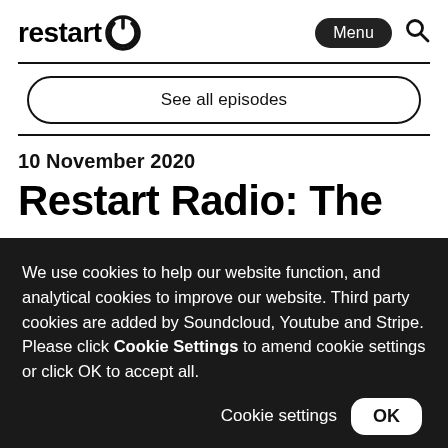restart [logo] Menu [search icon]
See all episodes
10 November 2020
Restart Radio: The
We use cookies to help our website function, and analytical cookies to improve our website. Third party cookies are added by Soundcloud, Youtube and Stripe. Please click Cookie Settings to amend cookie settings or click OK to accept all.
Cookie settings  OK